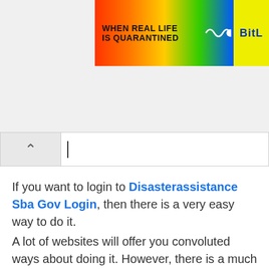[Figure (illustration): Rainbow-colored banner advertisement with text 'WHEN REAL LIFE IS QUARANTINED' and 'BitL' logo in yellow on blue background, with a white sperm/squiggle graphic]
If you want to login to Disasterassistance Sba Gov Login, then there is a very easy way to do it. A lot of websites will offer you convoluted ways about doing it. However, there is a much easier way. All you need to do is follow these simple instructions below.